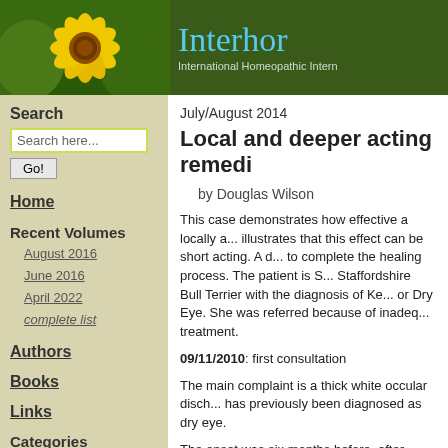[Figure (photo): Website header banner with green background, yellow daisy flower on left and teal/cyan text 'Interhor' with subtitle 'International Homeopathic Intern...' on right]
Search
Search here...
Go!
Home
Recent Volumes
August 2016
June 2016
April 2022
complete list
Authors
Books
Links
Categories
Cases
July/August 2014
Local and deeper acting remedi...
by Douglas Wilson
This case demonstrates how effective a locally a... illustrates that this effect can be short acting. A d... to complete the healing process. The patient is S... Staffordshire Bull Terrier with the diagnosis of Ke... or Dry Eye. She was referred because of inadeq... treatment.
09/11/2010: first consultation
The main complaint is a thick white occular disch... has previously been diagnosed as dry eye.
The onset was six months before, after surgery t...
Sam rubs her eyes on furnishings and peoples' l...
Current treatment is Cyclosporin 1% and Liquid t...
History